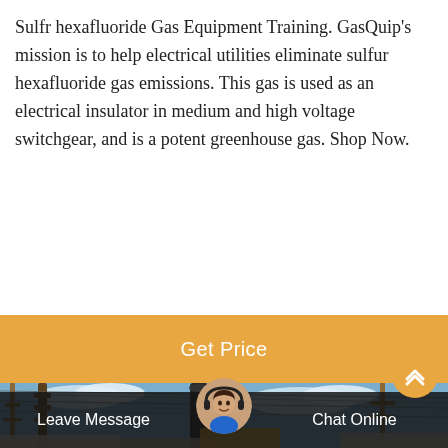Sulfr hexafluoride Gas Equipment Training. GasQuip's mission is to help electrical utilities eliminate sulfur hexafluoride gas emissions. This gas is used as an electrical insulator in medium and high voltage switchgear, and is a potent greenhouse gas. Shop Now.
[Figure (other): Orange/amber button bar with white text reading 'Get Price']
[Figure (photo): Photograph of electrical substation with high voltage switchgear, power lines, insulators, and transformers against a cloudy blue sky]
[Figure (other): Dark semi-transparent bottom bar with 'Leave Message' on the left, a customer service avatar in the center, and 'Chat Online' on the right. An orange circular scroll-up arrow button appears on the right side.]